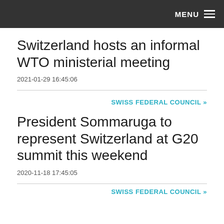MENU
Switzerland hosts an informal WTO ministerial meeting
2021-01-29 16:45:06
SWISS FEDERAL COUNCIL »
President Sommaruga to represent Switzerland at G20 summit this weekend
2020-11-18 17:45:05
SWISS FEDERAL COUNCIL »